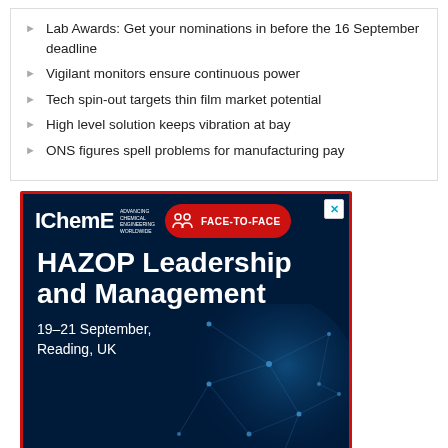Lab Awards: Get your nominations in before the 16 September deadline
Vigilant monitors ensure continuous power
Tech spin-out targets thin film market potential
High level solution keeps vibration at bay
ONS figures spell problems for manufacturing pay
[Figure (illustration): IChemE advertisement banner for HAZOP Leadership and Management course, 19-21 September, Reading, UK. Dark blue background with red border, IChemE logo, face-to-face pill badge, and network globe graphic.]